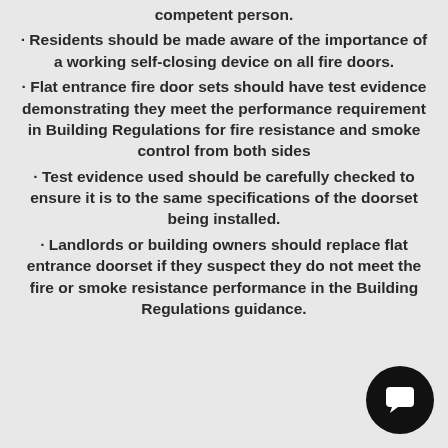competent person.
· Residents should be made aware of the importance of a working self-closing device on all fire doors.
· Flat entrance fire door sets should have test evidence demonstrating they meet the performance requirement in Building Regulations for fire resistance and smoke control from both sides
· Test evidence used should be carefully checked to ensure it is to the same specifications of the doorset being installed.
· Landlords or building owners should replace flat entrance doorset if they suspect they do not meet the fire or smoke resistance performance in the Building Regulations guidance.